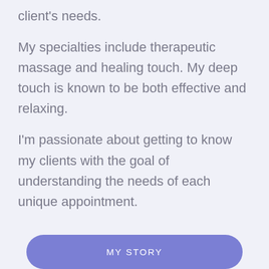client's needs.
My specialties include therapeutic massage and healing touch. My deep touch is known to be both effective and relaxing.
I'm passionate about getting to know my clients with the goal of understanding the needs of each unique appointment.
MY STORY